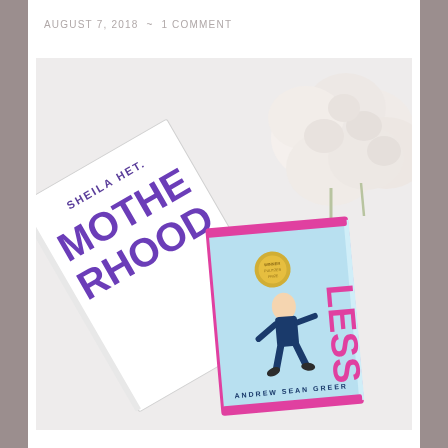AUGUST 7, 2018 ~ 1 COMMENT
[Figure (photo): Two books laid flat on a white surface surrounded by white roses. Left book: 'Motherhood' by Sheila Heti with large purple vertical text. Right book: 'Less' by Andrew Sean Greer with a light blue cover showing a man in a suit falling, with a gold Pulitzer Prize medallion.]